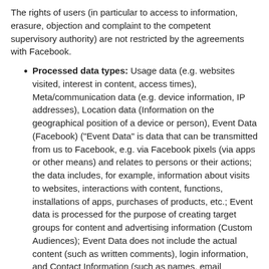The rights of users (in particular to access to information, erasure, objection and complaint to the competent supervisory authority) are not restricted by the agreements with Facebook.
Processed data types: Usage data (e.g. websites visited, interest in content, access times), Meta/communication data (e.g. device information, IP addresses), Location data (Information on the geographical position of a device or person), Event Data (Facebook) ("Event Data" is data that can be transmitted from us to Facebook, e.g. via Facebook pixels (via apps or other means) and relates to persons or their actions; the data includes, for example, information about visits to websites, interactions with content, functions, installations of apps, purchases of products, etc.; Event data is processed for the purpose of creating target groups for content and advertising information (Custom Audiences); Event Data does not include the actual content (such as written comments), login information, and Contact Information (such as names, email addresses, and phone numbers).